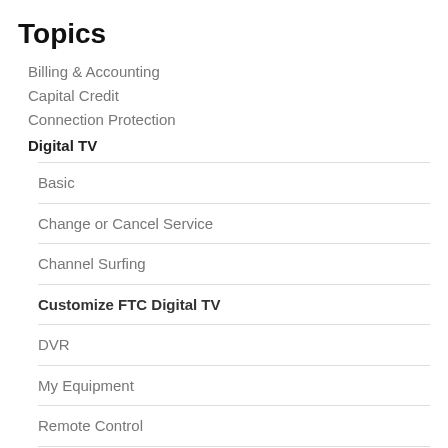Topics
Billing & Accounting
Capital Credit
Connection Protection
Digital TV
Basic
Change or Cancel Service
Channel Surfing
Customize FTC Digital TV
DVR
My Equipment
Remote Control
Remote Control Guides
Set-top Box Guides